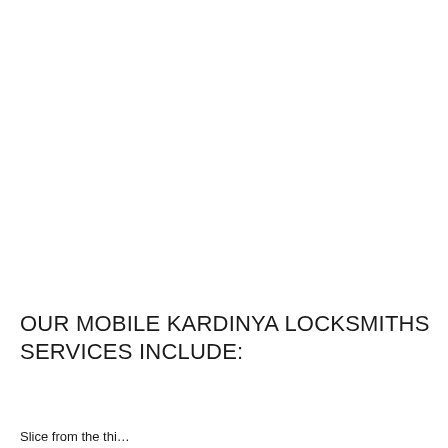OUR MOBILE KARDINYA LOCKSMITHS SERVICES INCLUDE:
Slice from the thi...